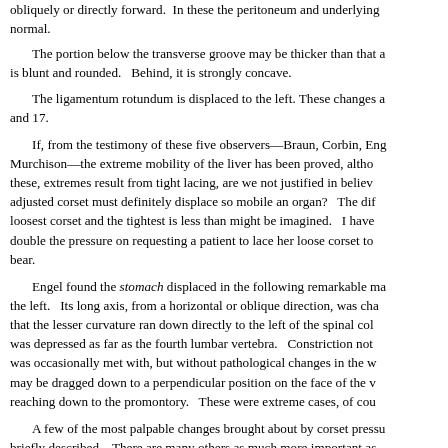obliquely or directly forward.  In these the peritoneum and underlying structures are normal.
The portion below the transverse groove may be thicker than that above; its edge is blunt and rounded.  Behind, it is strongly concave.
The ligamentum rotundum is displaced to the left. These changes are shown in Figs. 16 and 17.
If, from the testimony of these five observers—Braun, Corbin, Engel, Glénard, and Murchison—the extreme mobility of the liver has been proved, although in some of these, extremes result from tight lacing, are we not justified in believing that a badly adjusted corset must definitely displace so mobile an organ?  The difference between the loosest corset and the tightest is less than might be imagined.  I have been able to more than double the pressure on requesting a patient to lace her loose corset to its utmost she could bear.
Engel found the stomach displaced in the following remarkable manner: it was pushed to the left.  Its long axis, from a horizontal or oblique direction, was changed so that the lesser curvature ran down directly to the left of the spinal column; the pylorus was depressed as far as the fourth lumbar vertebra.  Constriction not infrequently was occasionally met with, but without pathological changes in the walls; the stomach may be dragged down to a perpendicular position on the face of the vertebral column, reaching down to the promontory.  These were extreme cases, of course.
A few of the most palpable changes brought about by corset pressure have been briefly described.  There are many others as much more important as they are obscure and difficult of proof, such as the disturbances of abdominal circulation and of digestion, the limitation of exercise, and the slowly increasing action